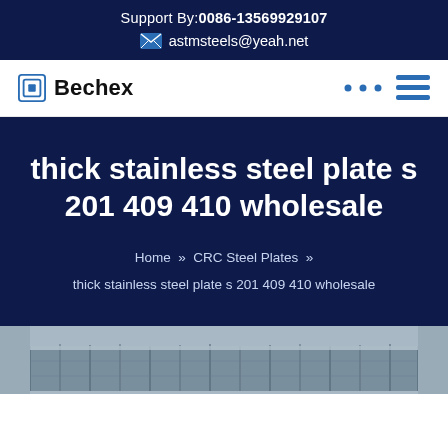Support By:0086-13569929107
astmsteels@yeah.net
[Figure (logo): Bechex company logo with square icon and bold text]
thick stainless steel plate s 201 409 410 wholesale
Home » CRC Steel Plates » thick stainless steel plate s 201 409 410 wholesale
[Figure (photo): Stainless steel plates stacked, industrial photo]